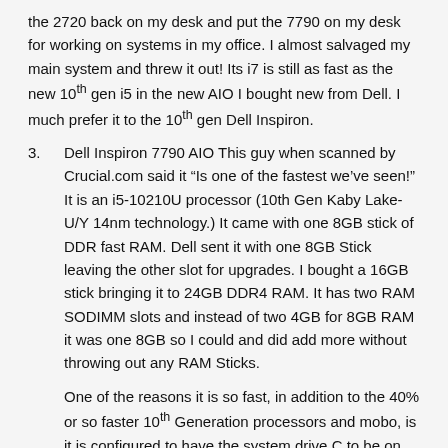the 2720 back on my desk and put the 7790 on my desk for working on systems in my office. I almost salvaged my main system and threw it out! Its i7 is still as fast as the new 10th gen i5 in the new AIO I bought new from Dell. I much prefer it to the 10th gen Dell Inspiron.
3. Dell Inspiron 7790 AIO This guy when scanned by Crucial.com said it “Is one of the fastest we’ve seen!” It is an i5-10210U processor (10th Gen Kaby Lake-U/Y 14nm technology.) It came with one 8GB stick of DDR fast RAM. Dell sent it with one 8GB Stick leaving the other slot for upgrades. I bought a 16GB stick bringing it to 24GB DDR4 RAM. It has two RAM SODIMM slots and instead of two 4GB for 8GB RAM it was one 8GB so I could and did add more without throwing out any RAM Sticks.
One of the reasons it is so fast, in addition to the 40% or so faster 10th Generation processors and mobo, is it is configured to have the system drive C to be on the 256GB BC511-NVMe SK Hynix SSD. I upgraded the 1TB HDD it came with, to a WD Blue 1TB SSD for the storage drive. Overkill I know. I upgraded the warranty to in home service after the by mail on the first call it in.